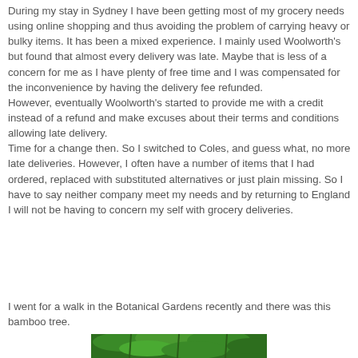During my stay in Sydney I have been getting most of my grocery needs using online shopping and thus avoiding the problem of carrying heavy or bulky items. It has been a mixed experience. I mainly used Woolworth's but found that almost every delivery was late. Maybe that is less of a concern for me as I have plenty of free time and I was compensated for the inconvenience by having the delivery fee refunded.
However, eventually Woolworth's started to provide me with a credit instead of a refund and make excuses about their terms and conditions allowing late delivery.
Time for a change then. So I switched to Coles, and guess what, no more late deliveries. However, I often have a number of items that I had ordered, replaced with substituted alternatives or just plain missing. So I have to say neither company meet my needs and by returning to England I will not be having to concern my self with grocery deliveries.
I went for a walk in the Botanical Gardens recently and there was this bamboo tree.
[Figure (photo): Partial view of green bamboo tree foliage in the Botanical Gardens]